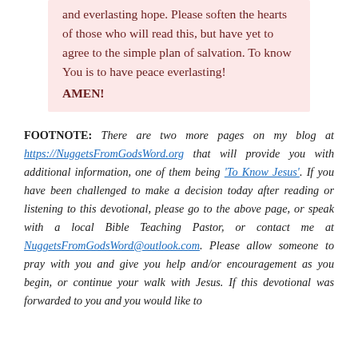and everlasting hope. Please soften the hearts of those who will read this, but have yet to agree to the simple plan of salvation. To know You is to have peace everlasting! AMEN!
FOOTNOTE: There are two more pages on my blog at https://NuggetsFromGodsWord.org that will provide you with additional information, one of them being 'To Know Jesus'. If you have been challenged to make a decision today after reading or listening to this devotional, please go to the above page, or speak with a local Bible Teaching Pastor, or contact me at NuggetsFromGodsWord@outlook.com. Please allow someone to pray with you and give you help and/or encouragement as you begin, or continue your walk with Jesus. If this devotional was forwarded to you and you would like to